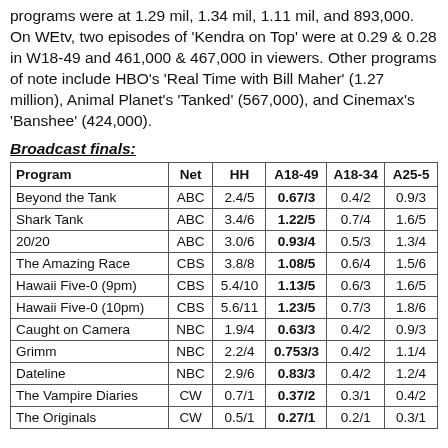programs were at 1.29 mil, 1.34 mil, 1.11 mil, and 893,000. On WEtv, two episodes of 'Kendra on Top' were at 0.29 & 0.28 in W18-49 and 461,000 & 467,000 in viewers. Other programs of note include HBO's 'Real Time with Bill Maher' (1.27 million), Animal Planet's 'Tanked' (567,000), and Cinemax's 'Banshee' (424,000).
Broadcast finals:
| Program | Net | HH | A18-49 | A18-34 | A25-5 |
| --- | --- | --- | --- | --- | --- |
| Beyond the Tank | ABC | 2.4/5 | 0.67/3 | 0.4/2 | 0.9/3 |
| Shark Tank | ABC | 3.4/6 | 1.22/5 | 0.7/4 | 1.6/5 |
| 20/20 | ABC | 3.0/6 | 0.93/4 | 0.5/3 | 1.3/4 |
| The Amazing Race | CBS | 3.8/8 | 1.08/5 | 0.6/4 | 1.5/6 |
| Hawaii Five-0 (9pm) | CBS | 5.4/10 | 1.13/5 | 0.6/3 | 1.6/5 |
| Hawaii Five-0 (10pm) | CBS | 5.6/11 | 1.23/5 | 0.7/3 | 1.8/6 |
| Caught on Camera | NBC | 1.9/4 | 0.63/3 | 0.4/2 | 0.9/3 |
| Grimm | NBC | 2.2/4 | 0.753/3 | 0.4/2 | 1.1/4 |
| Dateline | NBC | 2.9/6 | 0.83/3 | 0.4/2 | 1.2/4 |
| The Vampire Diaries | CW | 0.7/1 | 0.37/2 | 0.3/1 | 0.4/2 |
| The Originals | CW | 0.5/1 | 0.27/1 | 0.2/1 | 0.3/1 |